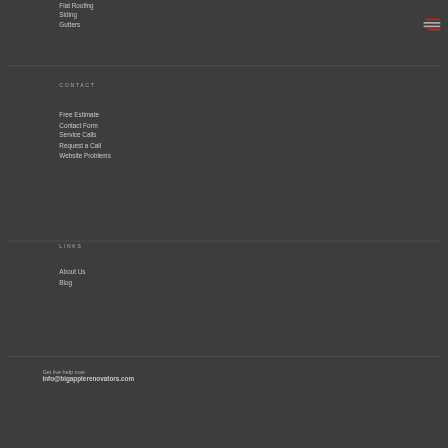Flat Roofing
Siding
Gutters
[Figure (illustration): Hamburger menu icon with red and grey horizontal lines]
CONTACT
Free Estimate
Contact Form
Service Calls
Request a Call
Website Problems
LINKS
About Us
Blog
Get live help now
info@bigapplerenovators.com